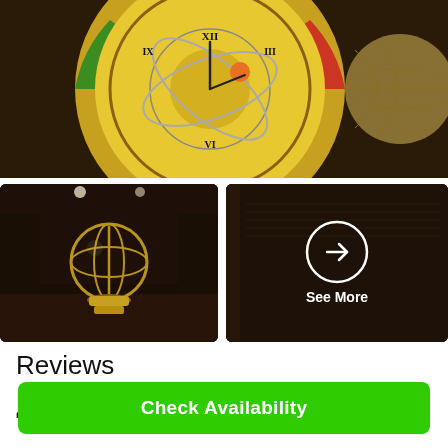[Figure (photo): Close-up photo of an ornate astronomical clock face with gold, blue, yellow, and red decorative elements and Roman numerals]
[Figure (photo): Photo of a museum interior showing an armillary sphere or celestial globe on a pedestal with display cases in background]
[Figure (photo): Dark background image with a white circle containing a right-arrow icon and 'See More' text below]
Reviews
4.0 (4 out of 5 stars rating)
Check Availability